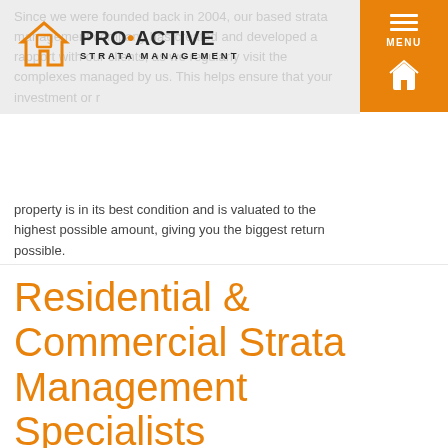[Figure (logo): Pro-Active Strata Management logo with orange house icon and company name in dark and orange lettering]
Since we were founded back in 2004, our based strata management company has created and developed a rapport with our clients, as we regularly visit the complexes managed by us. This helps ensure that your investment or rental property is in its best condition and is valuated to the highest possible amount, giving you the biggest return possible.
Residential & Commercial Strata Management Specialists
Our team of strata managers in Perth, WA, have extensive skills and can manage both residential and commercial complexes, with building sizes ranging from 4-180 units. Whether you own a